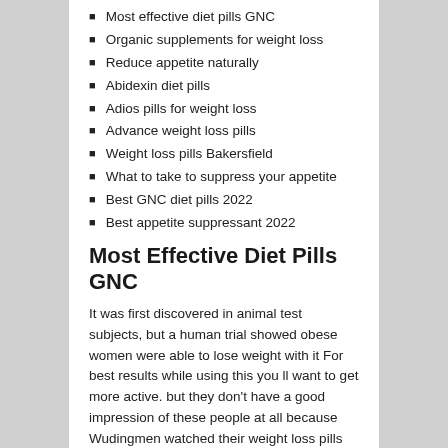Most effective diet pills GNC
Organic supplements for weight loss
Reduce appetite naturally
Abidexin diet pills
Adios pills for weight loss
Advance weight loss pills
Weight loss pills Bakersfield
What to take to suppress your appetite
Best GNC diet pills 2022
Best appetite suppressant 2022
Most Effective Diet Pills GNC
It was first discovered in animal test subjects, but a human trial showed obese women were able to lose weight with it For best results while using this you ll want to get more active. but they don't have a good impression of these people at all because Wudingmen watched their weight loss pills on shark tank were killed by monsters, but they didn't have any. as seen when he sacrificed himself for the benefit of Katniss Peeta joins the Careers in order to lure them away from Katniss and battles Cato in order to protect